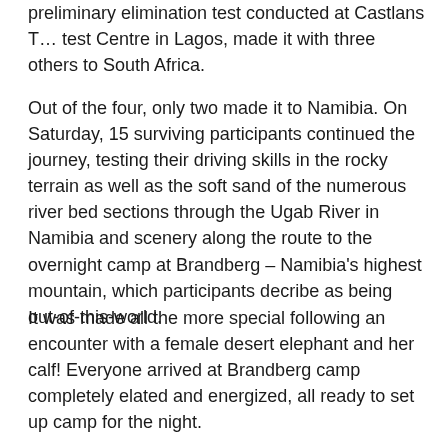preliminary elimination test conducted at Castlans T... test Centre in Lagos, made it with three others to South Africa.
Out of the four, only two made it to Namibia. On Saturday, 15 surviving participants continued the journey, testing their driving skills in the rocky terrain as well as the soft sand of the numerous river bed sections through the Ugab River in Namibia and scenery along the route to the overnight camp at Brandberg – Namibia's highest mountain, which participants decribe as being out-of-this-world.
It was made all the more special following an encounter with a female desert elephant and her calf! Everyone arrived at Brandberg camp completely elated and energized, all ready to set up camp for the night.